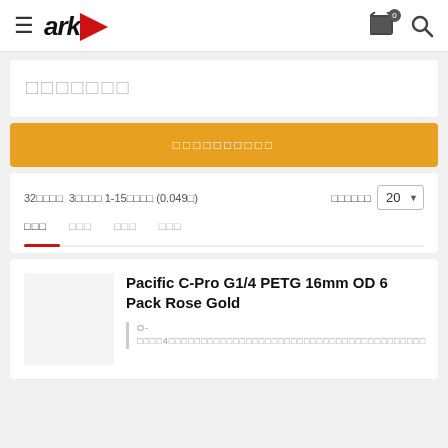ark (logo with hamburger menu, cart, and search icons)
□□□□□□□
□□□□□□□□□□
32□□□□ 3□□□□ 1-15□□□□ (0.049□) □□□□□□ 20
□□□  □□□  □□□  □□□
Pacific C-Pro G1/4 PETG 16mm OD 6 Pack Rose Gold
O-□□□□4□□□□□□□□□□□□□□□□□□□□□□□□□□□□□□□□□□□□□□□